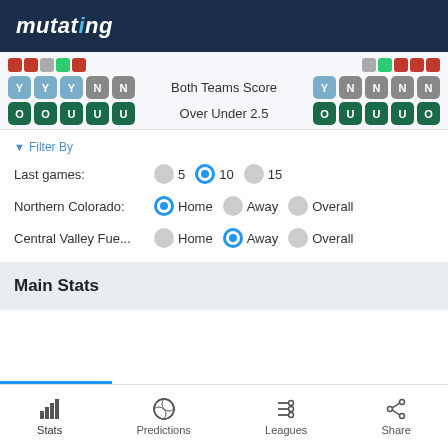mutating
[Figure (screenshot): Score badge rows showing Y Y Y N N and O O U U U on left side, Both Teams Score / Over Under 2.5 labels in center, Y N N N N and O U U U O badges on right side]
Filter By
Last games: 5  10  15 (10 selected)
Northern Colorado: Home (selected)  Away  Overall
Central Valley Fue... Home  Away (selected)  Overall
Main Stats
Stats  Predictions  Leagues  Share